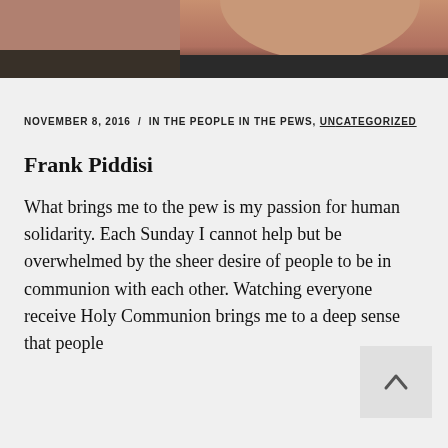[Figure (photo): Cropped photo of a person's lower face and neck, partially visible at the top of the page.]
NOVEMBER 8, 2016  /  IN THE PEOPLE IN THE PEWS, UNCATEGORIZED
Frank Piddisi
What brings me to the pew is my passion for human solidarity. Each Sunday I cannot help but be overwhelmed by the sheer desire of people to be in communion with each other. Watching everyone receive Holy Communion brings me to a deep sense that people